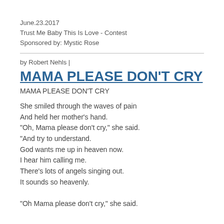June.23.2017
Trust Me Baby This Is Love - Contest
Sponsored by: Mystic Rose
by Robert Nehls |
MAMA PLEASE DON'T CRY
MAMA PLEASE DON'T CRY
She smiled through the waves of pain
And held her mother's hand.
"Oh, Mama please don't cry," she said.
"And try to understand.
God wants me up in heaven now.
I hear him calling me.
There's lots of angels singing out.
It sounds so heavenly.

"Oh Mama please don't cry," she said.